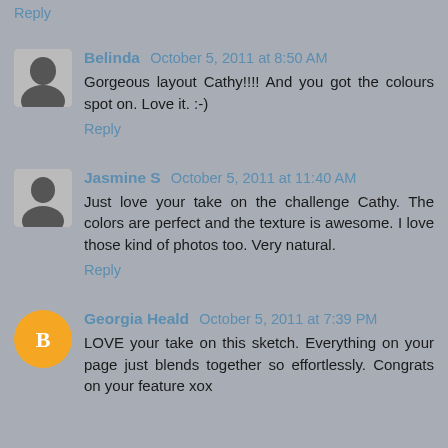Reply
Belinda  October 5, 2011 at 8:50 AM
Gorgeous layout Cathy!!!! And you got the colours spot on. Love it. :-)
Reply
Jasmine S  October 5, 2011 at 11:40 AM
Just love your take on the challenge Cathy. The colors are perfect and the texture is awesome. I love those kind of photos too. Very natural.
Reply
Georgia Heald  October 5, 2011 at 7:39 PM
LOVE your take on this sketch. Everything on your page just blends together so effortlessly. Congrats on your feature xox